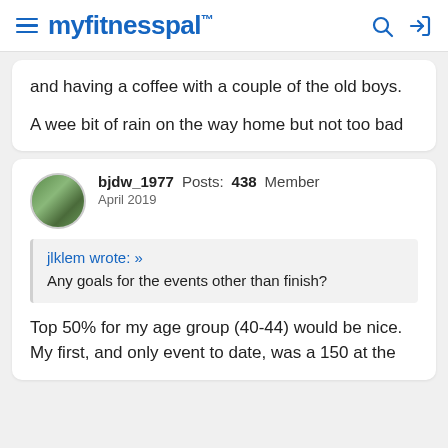myfitnesspal
and having a coffee with a couple of the old boys.

A wee bit of rain on the way home but not too bad
bjdw_1977  Posts: 438  Member
April 2019
jlklem wrote: »
Any goals for the events other than finish?
Top 50% for my age group (40-44) would be nice. My first, and only event to date, was a 150 at the end of February and I came better than 25%